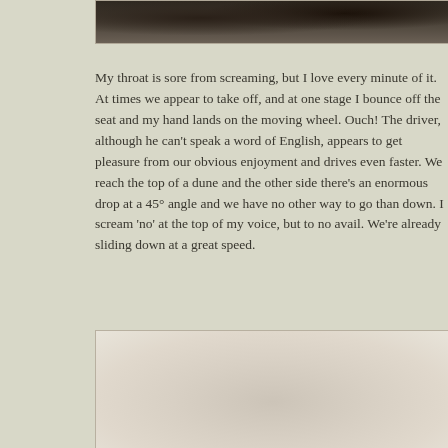[Figure (photo): Top portion of a photo showing a dark landscape or terrain, cropped at top of page]
My throat is sore from screaming, but I love every minute of it. At times we appear to take off, and at one stage I bounce off the seat and my hand lands on the moving wheel. Ouch! The driver, although he can't speak a word of English, appears to get pleasure from our obvious enjoyment and drives even faster. We reach the top of a dune and the other side there's an enormous drop at a 45° angle and we have no other way to go than down. I scream 'no' at the top of my voice, but to no avail. We're already sliding down at a great speed.
[Figure (photo): Bottom photo showing a light beige/cream textured surface, possibly sand dunes or paper texture]